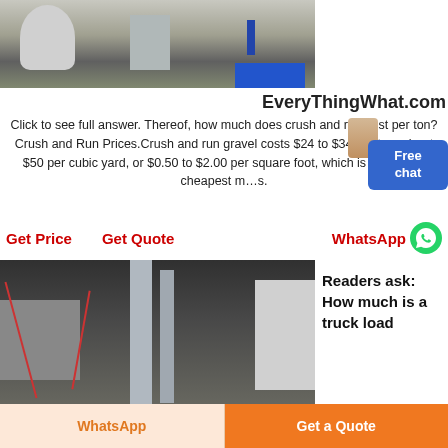[Figure (photo): Industrial machinery/equipment photo, outdoor scene with large machinery and a person in blue]
EveryThingWhat.com
Click to see full answer. Thereof, how much does crush and run cost per ton? Crush and Run Prices.Crush and run gravel costs $24 to $34 per ton, about $50 per cubic yard, or $0.50 to $2.00 per square foot, which is one of the cheapest materials.
Get Price
Get Quote
WhatsApp
[Figure (photo): Industrial equipment/pipes inside a large facility]
Readers ask: How much is a truck load
WhatsApp
Get a Quote